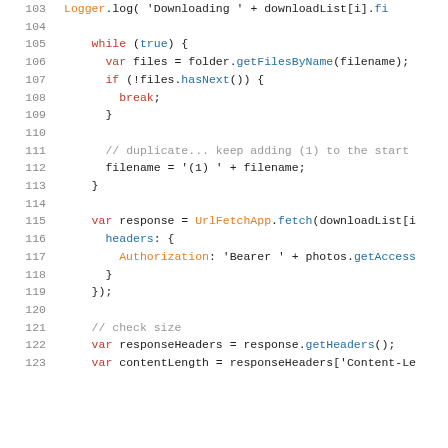[Figure (screenshot): Syntax-highlighted JavaScript code snippet showing lines 103–123. Lines include a while loop, file duplicate logic, a UrlFetchApp.fetch call with headers, and response header extraction.]